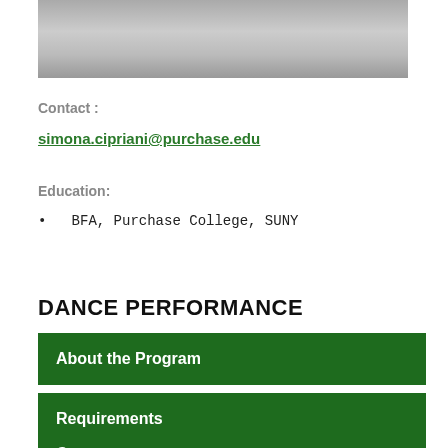[Figure (photo): Black and white photo of a person, partially cropped at top]
Contact :
simona.cipriani@purchase.edu
Education:
BFA, Purchase College, SUNY
DANCE PERFORMANCE
About the Program
Requirements
Courses